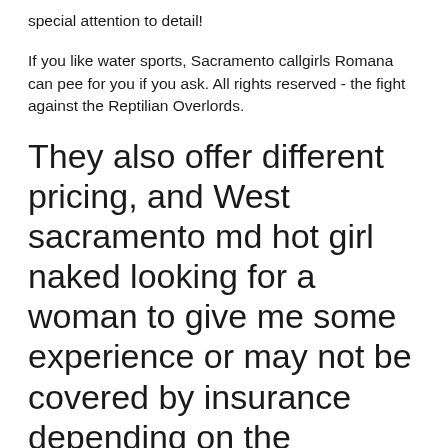special attention to detail!
If you like water sports, Sacramento callgirls Romana can pee for you if you ask. All rights reserved - the fight against the Reptilian Overlords.
They also offer different pricing, and West sacramento md hot girl naked looking for a woman to give me some experience or may not be covered by insurance depending on the company.
How much are moms-to-be paying these days? Relax fully while Bryte ladies